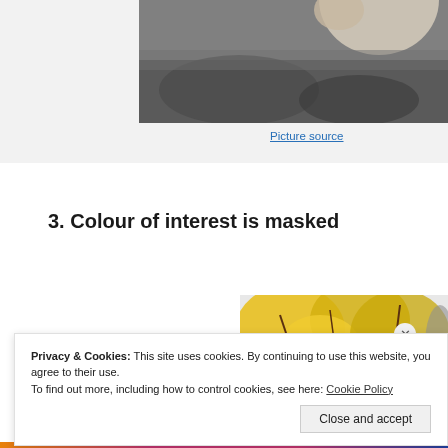[Figure (photo): Black and white photo of a person outdoors with blurred background, cropped at top of page]
Picture source
3. Colour of interest is masked
[Figure (photo): Color photo showing yellow flowers/trees against a bright sky, partially visible]
Privacy & Cookies: This site uses cookies. By continuing to use this website, you agree to their use.
To find out more, including how to control cookies, see here: Cookie Policy
Close and accept